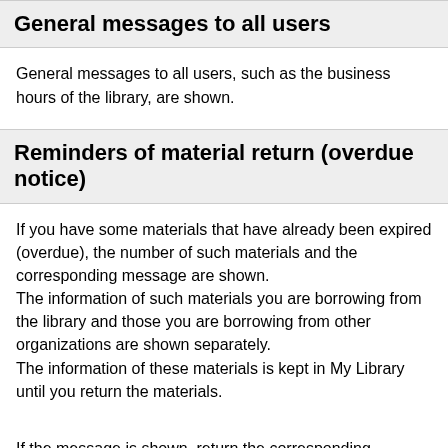General messages to all users
General messages to all users, such as the business hours of the library, are shown.
Reminders of material return (overdue notice)
If you have some materials that have already been expired (overdue), the number of such materials and the corresponding message are shown.
The information of such materials you are borrowing from the library and those you are borrowing from other organizations are shown separately.
The information of these materials is kept in My Library until you return the materials.
If the message is shown, return the corresponding materials immediately to the library.